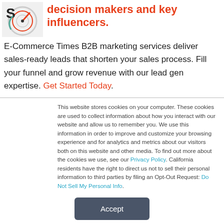[Figure (logo): E-Commerce Times logo with a stylized clock/target graphic]
decision makers and key influencers.
E-Commerce Times B2B marketing services deliver sales-ready leads that shorten your sales process. Fill your funnel and grow revenue with our lead gen expertise. Get Started Today.
This website stores cookies on your computer. These cookies are used to collect information about how you interact with our website and allow us to remember you. We use this information in order to improve and customize your browsing experience and for analytics and metrics about our visitors both on this website and other media. To find out more about the cookies we use, see our Privacy Policy. California residents have the right to direct us not to sell their personal information to third parties by filing an Opt-Out Request: Do Not Sell My Personal Info.
Accept